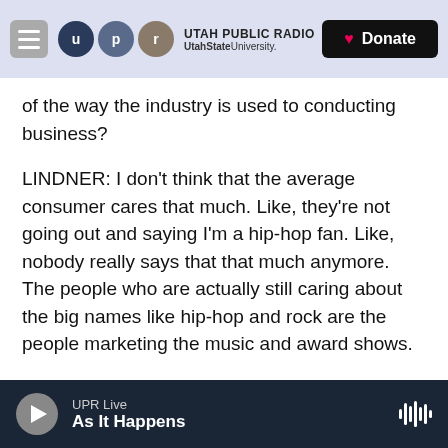Utah Public Radio — UtahState University — Donate
of the way the industry is used to conducting business?
LINDNER: I don't think that the average consumer cares that much. Like, they're not going out and saying I'm a hip-hop fan. Like, nobody really says that that much anymore. The people who are actually still caring about the big names like hip-hop and rock are the people marketing the music and award shows.
MARTIN: Let me play one more thing here from "Lemonade." You know, Beyonce has Grammy
UPR Live — As It Happens